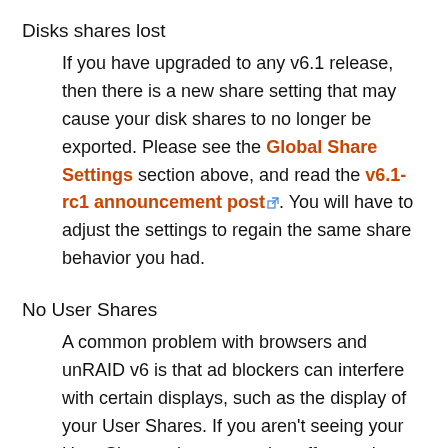Disks shares lost
If you have upgraded to any v6.1 release, then there is a new share setting that may cause your disk shares to no longer be exported. Please see the Global Share Settings section above, and read the v6.1-rc1 announcement post. You will have to adjust the settings to regain the same share behavior you had.
No User Shares
A common problem with browsers and unRAID v6 is that ad blockers can interfere with certain displays, such as the display of your User Shares. If you aren't seeing your User Shares, then try turning off any ad blockers for unRAID pages, or white-listing your